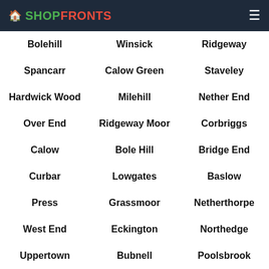SHOPFRONTS
Bolehill
Winsick
Ridgeway
Spancarr
Calow Green
Staveley
Hardwick Wood
Milehill
Nether End
Over End
Ridgeway Moor
Corbriggs
Calow
Bole Hill
Bridge End
Curbar
Lowgates
Baslow
Press
Grassmoor
Netherthorpe
West End
Eckington
Northedge
Uppertown
Bubnell
Poolsbrook